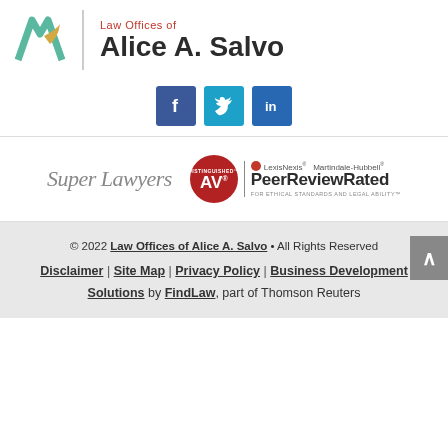[Figure (logo): Law Offices of Alice A. Salvo logo with teal AS monogram and firm name]
[Figure (infographic): Social media buttons: Facebook (dark blue), Twitter (teal), LinkedIn (blue)]
[Figure (infographic): Super Lawyers badge and AV Distinguished Peer Review Rated by LexisNexis Martindale-Hubbell badge]
© 2022 Law Offices of Alice A. Salvo • All Rights Reserved
Disclaimer | Site Map | Privacy Policy | Business Development Solutions by FindLaw, part of Thomson Reuters